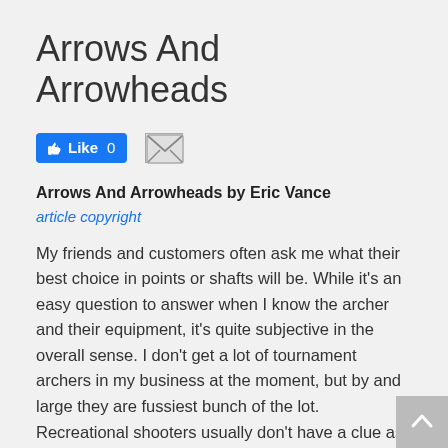Arrows And Arrowheads
[Figure (other): Facebook Like button showing 'Like 0' and an email/envelope icon button]
Arrows And Arrowheads by Eric Vance
article copyright
My friends and customers often ask me what their best choice in points or shafts will be. While it's an easy question to answer when I know the archer and their equipment, it's quite subjective in the overall sense. I don't get a lot of tournament archers in my business at the moment, but by and large they are fussiest bunch of the lot. Recreational shooters usually don't have a clue as to how to maximize performance with their equipment, but are appreciative when they see the results of well-matched gear. Hunters are always on the quest for the most effective setup they can